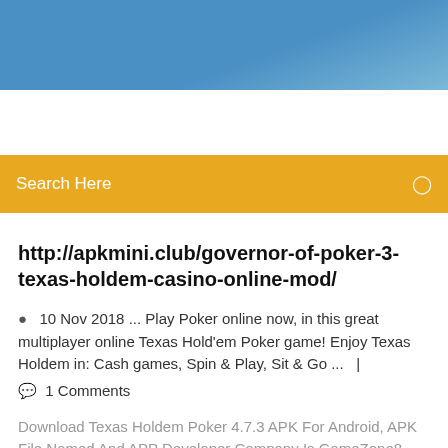[Figure (screenshot): Blue gradient header banner at top of mobile website]
Search Here
http://apkmini.club/governor-of-poker-3-texas-holdem-casino-online-mod/
10 Nov 2018 ... Play Poker online now, in this great multiplayer online Texas Hold'em Poker game! Enjoy Texas Holdem in: Cash games, Spin & Play, Sit & Go ...  |
1 Comments
Download Texas Holdem Poker 4.7.3 APK For Android, APK File Named And APP Developer Company Is GameZone8 . Latest